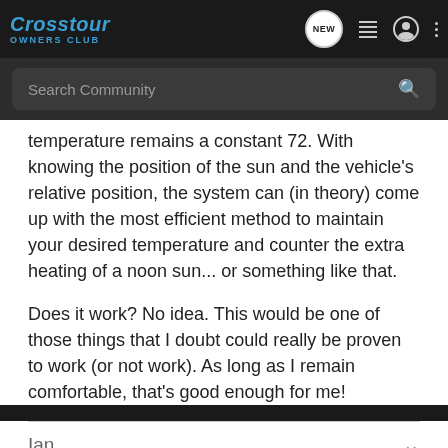Crosstour OWNERS CLUB
temperature remains a constant 72. With knowing the position of the sun and the vehicle's relative position, the system can (in theory) come up with the most efficient method to maintain your desired temperature and counter the extra heating of a noon sun... or something like that.
Does it work? No idea. This would be one of those things that I doubt could really be proven to work (or not work). As long as I remain comfortable, that's good enough for me!
Ian